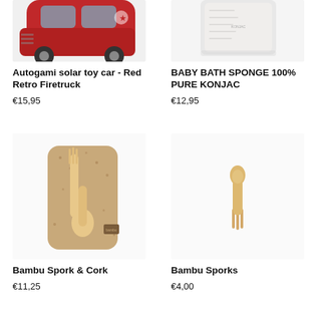[Figure (photo): Red toy car (Autogami solar toy car - Red Retro Firetruck), partially cropped at top]
[Figure (photo): White fluffy bath sponge (Baby Bath Sponge 100% Pure Konjac), partially cropped at top]
Autogami solar toy car - Red Retro Firetruck
€15,95
BABY BATH SPONGE 100% PURE KONJAC
€12,95
[Figure (photo): Bambu Spork & Cork - wooden fork-spoon utensil on a cork case]
[Figure (photo): Bambu Sporks - small wooden fork-spoon utensil on white background]
Bambu Spork & Cork
€11,25
Bambu Sporks
€4,00